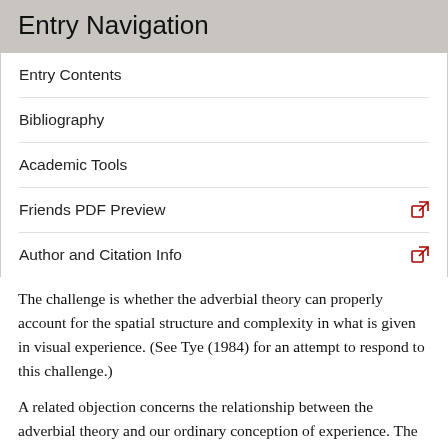Entry Navigation
Entry Contents
Bibliography
Academic Tools
Friends PDF Preview
Author and Citation Info
The challenge is whether the adverbial theory can properly account for the spatial structure and complexity in what is given in visual experience. (See Tye (1984) for an attempt to respond to this challenge.)
A related objection concerns the relationship between the adverbial theory and our ordinary conception of experience. The adverbial theorist might admit that, in a sense, we are aware of ordinary objects. When one “senses redly” if this state of mind is appropriately caused by a red thing (e.g., a tomato), perhaps this is what being aware of such an object amounts to. And it is not as if